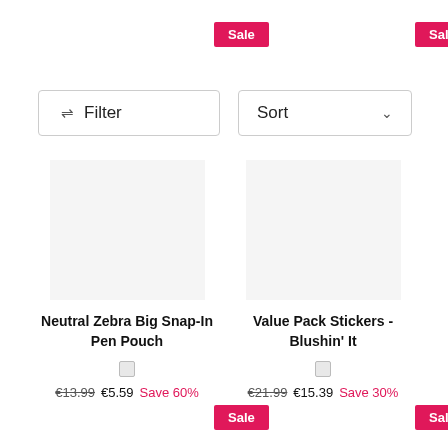Sale
Sale
Filter
Sort
Neutral Zebra Big Snap-In Pen Pouch
€13.99  €5.59  Save 60%
Value Pack Stickers - Blushin' It
€21.99  €15.39  Save 30%
Sale
Sale